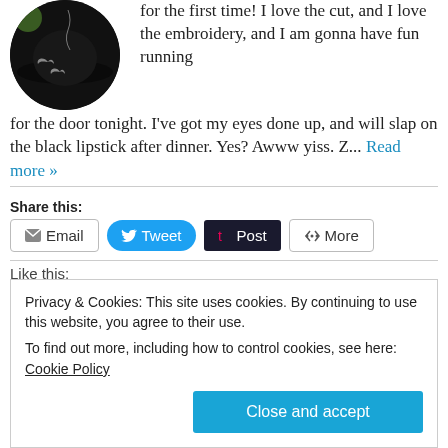[Figure (photo): Circular avatar photo showing a person wearing a black hat with bat embroidery design]
for the first time! I love the cut, and I love the embroidery, and I am gonna have fun running for the door tonight. I've got my eyes done up, and will slap on the black lipstick after dinner. Yes? Awww yiss. Z... Read more »
Share this:
Email | Tweet | Post | More
Privacy & Cookies: This site uses cookies. By continuing to use this website, you agree to their use. To find out more, including how to control cookies, see here: Cookie Policy
Close and accept